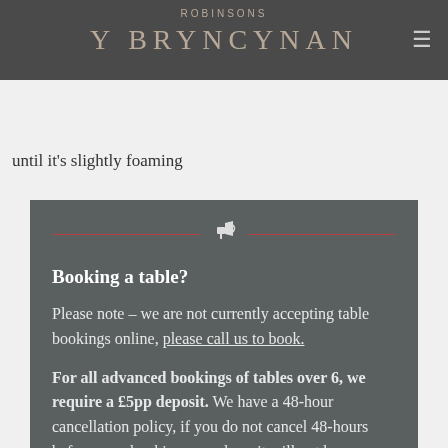ROBINSONS — Y BRYNCYNAN
1. In a separate jug add to the water the oil until it's slightly foaming
Booking a table?
Please note – we are not currently accepting table bookings online, please call us to book.
For all advanced bookings of tables over 6, we require a £5pp deposit. We have a 48-hour cancellation policy, if you do not cancel 48-hours before your booking your deposit will not be refunded. The deposit will be redeemed against your final bill.
If you wish to drink or dine outside, we